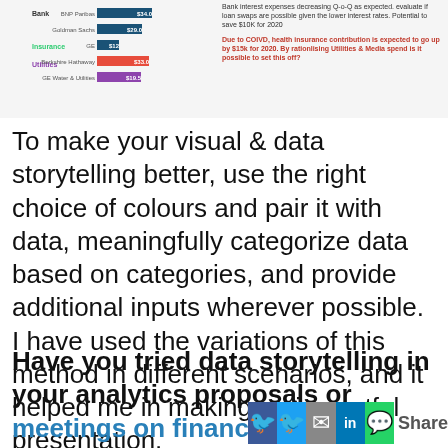[Figure (other): Partial view of a horizontal bar chart showing investment portfolio by sector (Bank, Insurance, Utilities) with companies like BNP Paribas, Goldman Sachs, GE, Berkshire Hathaway, GE Water & Utilities, and their values. Adjacent annotation text describes bank interest expense trends and COVID health insurance impact.]
To make your visual & data storytelling better, use the right choice of colours and pair it with data, meaningfully categorize data based on categories, and provide additional inputs wherever possible. I have used the variations of this method in different scenarios, and it helped me in making an impactful presentation.
Have you tried data storytelling in your analytics proposals or meetings on financial projections? Trust me, you will see meetings bec...